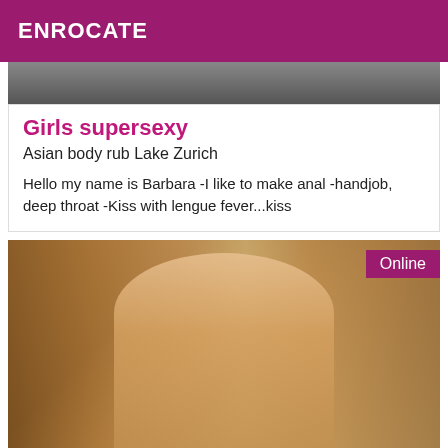ENROCATE
[Figure (photo): Top portion of a listing card image, partially cropped]
Girls supersexy
Asian body rub Lake Zurich
Hello my name is Barbara -I like to make anal -handjob, deep throat -Kiss with lengue fever...kiss
[Figure (photo): Photo of a blonde woman seated indoors, with an 'Online' badge in the top right corner]